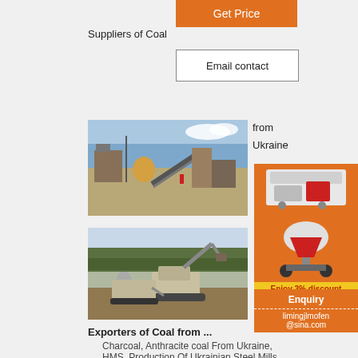[Figure (other): Orange 'Get Price' button]
Suppliers of Coal
[Figure (other): Email contact box with border]
from
Ukraine
[Figure (photo): Photo of coal mining/processing facility with conveyor belt and industrial equipment]
[Figure (photo): Photo of excavator and mobile crushing equipment at mining site]
Exporters of Coal from ...
Charcoal, Anthracite coal From Ukraine, HMS, Production Of Ukrainian Steel Mills.
[Figure (illustration): Orange advertisement panel showing industrial machinery, 'Enjoy 3% discount', 'Click to Chat', Enquiry button, and limingjlmofen@sina.com contact]